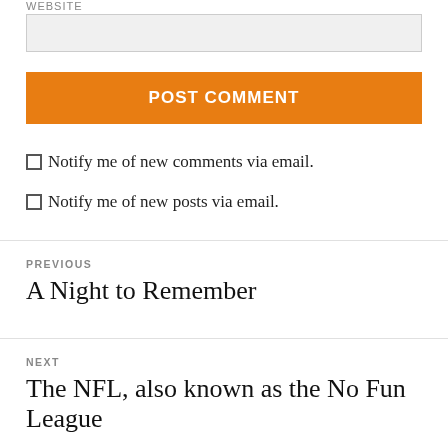WEBSITE
[Figure (screenshot): Empty text input box (grayed background) for website URL field]
POST COMMENT
Notify me of new comments via email.
Notify me of new posts via email.
PREVIOUS
A Night to Remember
NEXT
The NFL, also known as the No Fun League